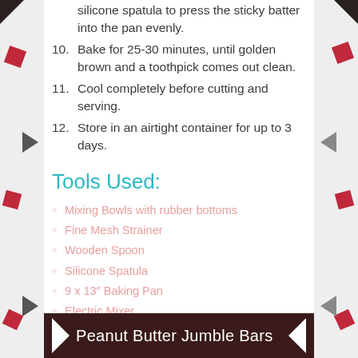10. Bake for 25-30 minutes, until golden brown and a toothpick comes out clean.
11. Cool completely before cutting and serving.
12. Store in an airtight container for up to 3 days.
Tools Used:
Mixing Bowls with rubber bottoms
Fine Mesh Strainer
Wooden Spoon
Silicone Spatula
9 x 13″ Baking Pan
Electric Mixer
Peanut Butter Jumble Bars